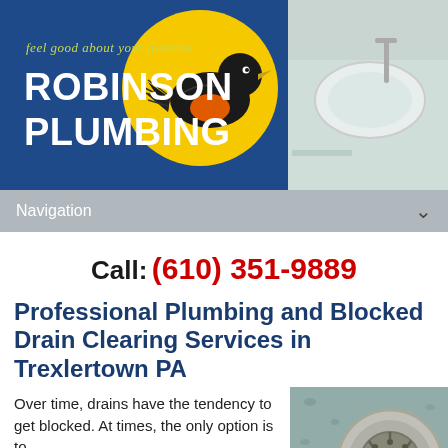[Figure (logo): Robinson Plumbing logo banner with dark blue background, yellow circle with black bird (robin with orange breast), tagline 'feel good about your plumber', company name 'ROBINSON PLUMBING' in white bold text, and a bathroom sink photo on the right]
Navigation
Call: (610) 351-9889
Professional Plumbing and Blocked Drain Clearing Services in Trexlertown PA
Over time, drains have the tendency to get blocked. At times, the only option is to
[Figure (photo): Close-up photo of a metal sink drain strainer with water droplets around it]